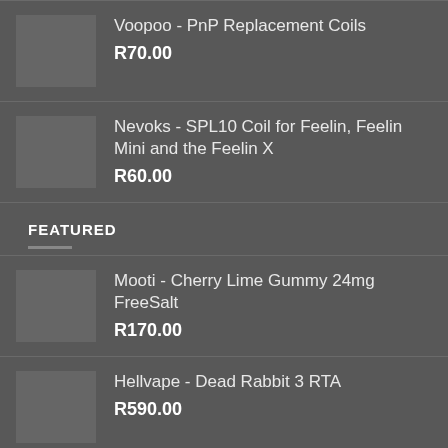Voopoo - PnP Replacement Coils
R70.00
Nevoks - SPL10 Coil for Feelin, Feelin Mini and the Feelin X
R60.00
FEATURED
Mooti - Cherry Lime Gummy 24mg FreeSalt
R170.00
Hellvape - Dead Rabbit 3 RTA
R590.00
Cloud Burst - 7500 Puff Disposable Vape
R...